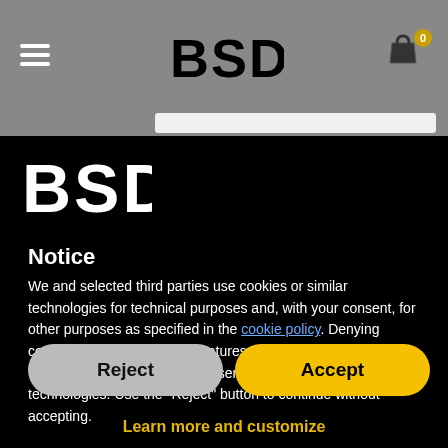BSD — header navigation bar with logo, hamburger menu, and cart icon
[Figure (logo): BSD logo in white on black background, large block letters]
Notice
We and selected third parties use cookies or similar technologies for technical purposes and, with your consent, for other purposes as specified in the cookie policy. Denying consent may make related features unavailable.
Use the "Accept" button to consent to the use of such technologies. Use the "Reject" button to continue without accepting.
Reject
Accept
Learn more and customize